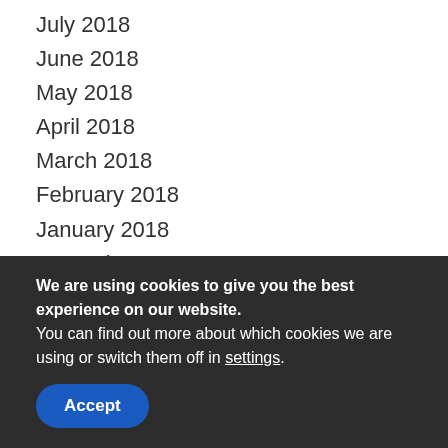July 2018
June 2018
May 2018
April 2018
March 2018
February 2018
January 2018
December 2017
November 2017
October 2017
September 2017
July 2017
June 2017
May 2017
We are using cookies to give you the best experience on our website.
You can find out more about which cookies we are using or switch them off in settings.